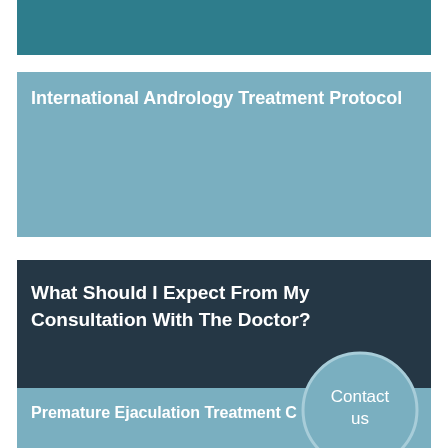International Andrology Treatment Protocol
What Should I Expect From My Consultation With The Doctor?
Premature Ejaculation Treatment C
[Figure (infographic): Contact us circular badge overlapping the bottom section]